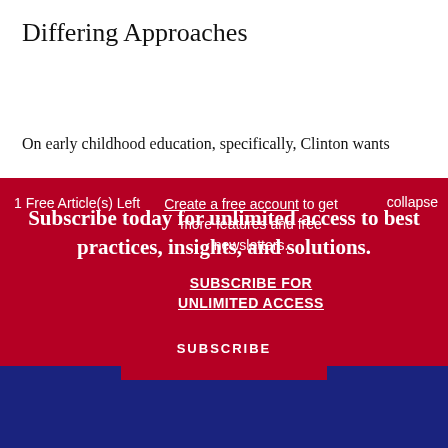Differing Approaches
On early childhood education, specifically, Clinton wants
1 Free Article(s) Left
Create a free account to get more features and free newsletters.
SUBSCRIBE FOR UNLIMITED ACCESS
collapse
Subscribe today for unlimited access to best practices, insights, and solutions.
SUBSCRIBE